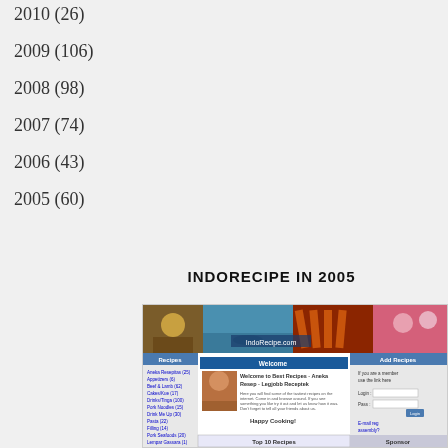2010 (26)
2009 (106)
2008 (98)
2007 (74)
2006 (43)
2005 (60)
INDORECIPE IN 2005
[Figure (screenshot): Screenshot of the IndoRecipe website from 2005, showing the homepage with a banner of food and cultural images, a Recipes sidebar with category links, a Welcome section introducing 'Best Recipes - Aneka Resep - Legjobb Receptek', a 'Happy Cooking!' message, a Top 10 Recipes section, and an Add Recipes / Sponsor column on the right.]